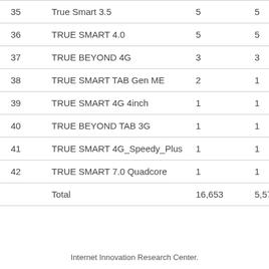|  |  |  |  |
| --- | --- | --- | --- |
| 35 | True Smart 3.5 | 5 | 5 |
| 36 | TRUE SMART 4.0 | 5 | 5 |
| 37 | TRUE BEYOND 4G | 3 | 3 |
| 38 | TRUE SMART TAB Gen ME | 2 | 1 |
| 39 | TRUE SMART 4G 4inch | 1 | 1 |
| 40 | TRUE BEYOND TAB 3G | 1 | 1 |
| 41 | TRUE SMART 4G_Speedy_Plus | 1 | 1 |
| 42 | TRUE SMART 7.0 Quadcore | 1 | 1 |
|  | Total | 16,653 | 5,577 |
Internet Innovation Research Center.